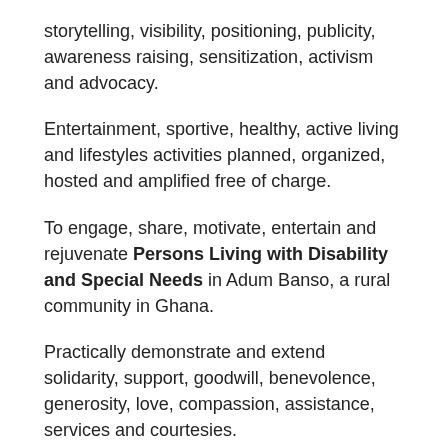storytelling, visibility, positioning, publicity, awareness raising, sensitization, activism and advocacy.
Entertainment, sportive, healthy, active living and lifestyles activities planned, organized, hosted and amplified free of charge.
To engage, share, motivate, entertain and rejuvenate Persons Living with Disability and Special Needs in Adum Banso, a rural community in Ghana.
Practically demonstrate and extend solidarity, support, goodwill, benevolence, generosity, love, compassion, assistance, services and courtesies.
And provide unique opportunities for establishing and fostering formidable and sustainable